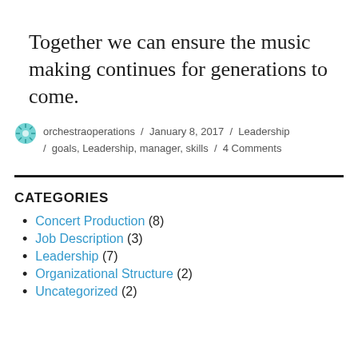Together we can ensure the music making continues for generations to come.
orchestraoperations / January 8, 2017 / Leadership / goals, Leadership, manager, skills / 4 Comments
CATEGORIES
Concert Production (8)
Job Description (3)
Leadership (7)
Organizational Structure (2)
Uncategorized (2)